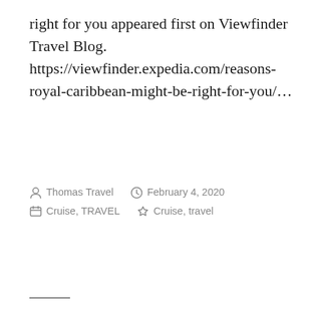right for you appeared first on Viewfinder Travel Blog. https://viewfinder.expedia.com/reasons-royal-caribbean-might-be-right-for-you/…
Thomas Travel  February 4, 2020  Cruise, TRAVEL  Cruise, travel